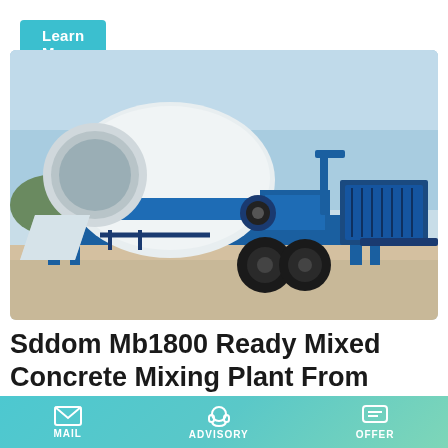Learn More
[Figure (photo): Sddom Mb1800 Ready Mixed Concrete Mixing Plant — a blue and white concrete mixer pump machine on wheels, photographed outdoors on a concrete surface with trees in the background.]
Sddom Mb1800 Ready Mixed Concrete Mixing Plant From China
Sddom mc1800 liebherr concrete plant, ready mix using ready
MAIL
ADVISORY
OFFER